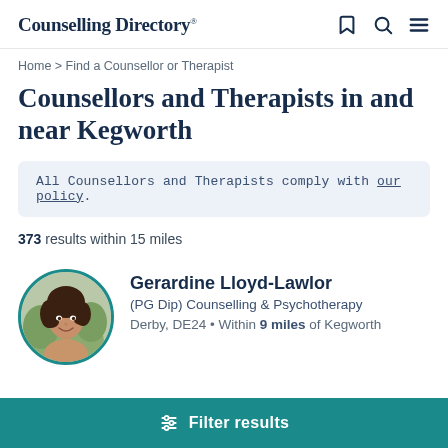Counselling Directory
Home > Find a Counsellor or Therapist
Counsellors and Therapists in and near Kegworth
All Counsellors and Therapists comply with our policy.
373 results within 15 miles
[Figure (photo): Circular profile photo of Gerardine Lloyd-Lawlor, a woman with dark curly hair, smiling, with green background. Teal circular border.]
Gerardine Lloyd-Lawlor
(PG Dip) Counselling & Psychotherapy
Derby, DE24 • Within 9 miles of Kegworth
Filter results